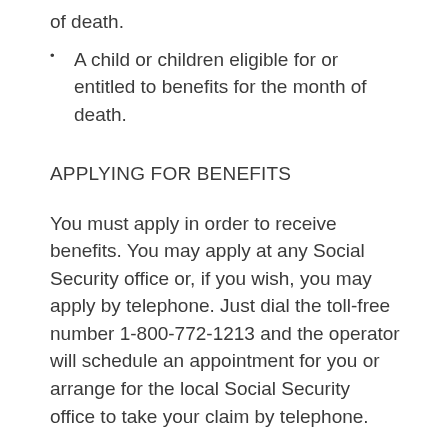of death.
A child or children eligible for or entitled to benefits for the month of death.
APPLYING FOR BENEFITS
You must apply in order to receive benefits. You may apply at any Social Security office or, if you wish, you may apply by telephone. Just dial the toll-free number 1-800-772-1213 and the operator will schedule an appointment for you or arrange for the local Social Security office to take your claim by telephone.
SOCIAL SECURITY TELESERVICE - DOING BUSINESS BY TELEPHONE